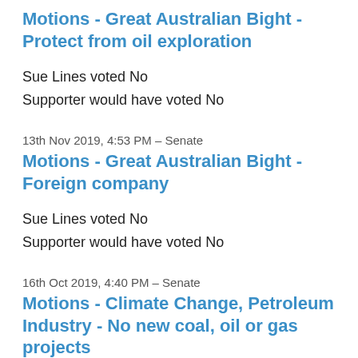Motions - Great Australian Bight - Protect from oil exploration
Sue Lines voted No
Supporter would have voted No
13th Nov 2019, 4:53 PM – Senate
Motions - Great Australian Bight - Foreign company
Sue Lines voted No
Supporter would have voted No
16th Oct 2019, 4:40 PM – Senate
Motions - Climate Change, Petroleum Industry - No new coal, oil or gas projects